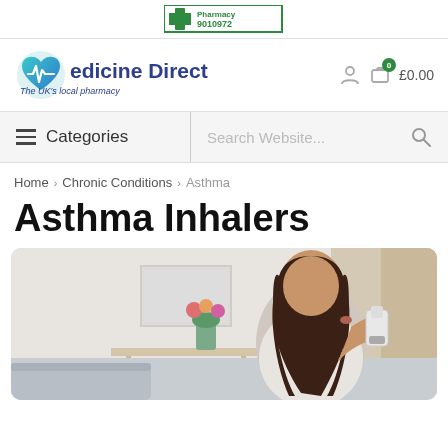[Figure (logo): Pharmacy badge with green cross and number 9010972]
[Figure (logo): Medicine Direct logo with heart/pulse icon and tagline 'The UK's local pharmacy']
0  £0.00
Categories  Search Website...
Home > Chronic Conditions > Asthma
Asthma Inhalers
[Figure (photo): Woman using an asthma inhaler, sitting in a bright room with flowers in background]